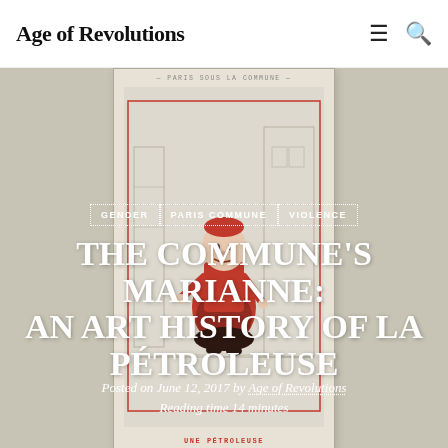Age of Revolutions
[Figure (illustration): Vintage French illustration card showing a caricature of a woman in red dress labeled 'UNE PÉTROLÉUSE' with header text 'PARIS SOUS LA COMMUNE', set against a muted beige background]
GENDER
PARIS COMMUNE
VIOLENCE
THE COMMUNE'S MARIANNE: AN ART HISTORY OF LA PÉTROLEUSE
Posted on June 12, 2017 by Age of Revolutions
Reading time 14 minutes